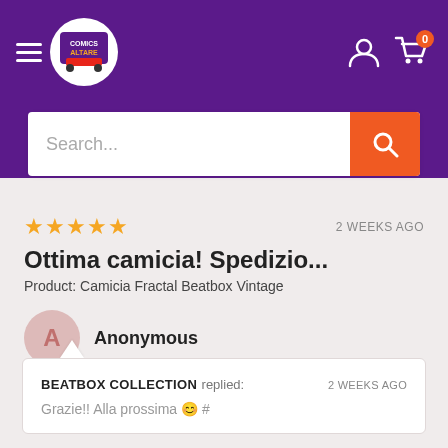[Figure (screenshot): E-commerce website header with purple background, hamburger menu, logo, user icon, cart icon with orange badge showing 0, and a search bar with orange search button]
★★★★★  2 WEEKS AGO
Ottima camicia! Spedizio...
Product: Camicia Fractal Beatbox Vintage
A  Anonymous
BEATBOX COLLECTION replied:  2 WEEKS AGO
Grazie!! Alla prossima 😊 #